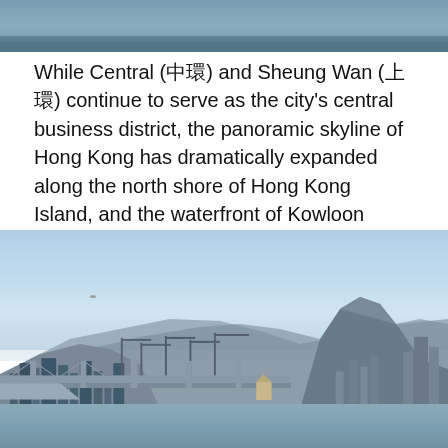[Figure (photo): Top portion of a photo showing water/harbour scene, cropped at top of page]
While Central (中環) and Sheung Wan (上環) continue to serve as the city's central business district, the panoramic skyline of Hong Kong has dramatically expanded along the north shore of Hong Kong Island, and the waterfront of Kowloon Peninsula across the Harbour. [Skyline of Central taken in Tsim Sha Tsui, 2020]
[Figure (photo): Panoramic photo of Hong Kong harbour showing bridge, skyline, mountains, and water as seen from a distance, taken from Tsim Sha Tsui in 2020]